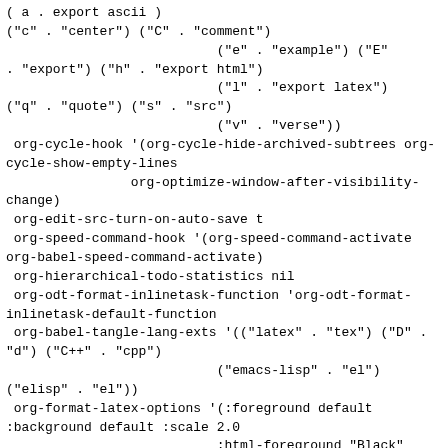( a . export ascii )
("c" . "center") ("C" . "comment")
                           ("e" . "example") ("E"
. "export") ("h" . "export html")
                           ("l" . "export latex")
("q" . "quote") ("s" . "src")
                           ("v" . "verse"))
 org-cycle-hook '(org-cycle-hide-archived-subtrees org-
cycle-show-empty-lines
                org-optimize-window-after-visibility-
change)
 org-edit-src-turn-on-auto-save t
 org-speed-command-hook '(org-speed-command-activate
org-babel-speed-command-activate)
 org-hierarchical-todo-statistics nil
 org-odt-format-inlinetask-function 'org-odt-format-
inlinetask-default-function
 org-babel-tangle-lang-exts '(("latex" . "tex") ("D" .
"d") ("C++" . "cpp")
                           ("emacs-lisp" . "el")
("elisp" . "el"))
 org-format-latex-options '(:foreground default
:background default :scale 2.0
                           :html-foreground "Black"
:html-background "Transparent"
                           :html-scale 1.0 :matchers
("begin" "$1" "$" "$$" "\\(" "\\["))
 org-confirm-shell-link-function 'yes-or-no-p
 org-link-parameters '(("attachment" :complete org-
attach-complete-link)
                           ("id" . follow-with-name)